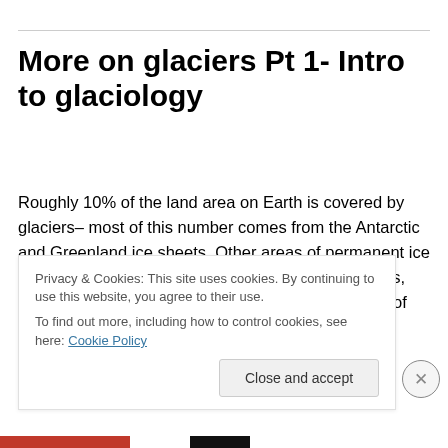More on glaciers Pt 1- Intro to glaciology
Roughly 10% of the land area on Earth is covered by glaciers– most of this number comes from the Antarctic and Greenland ice sheets. Other areas of permanent ice are scattered around in places like the Rockies, Alps, Andes, Himalayas, etc. Ice also covers roughly 7% of the oceans in the annual mean, though both hemispheres
Privacy & Cookies: This site uses cookies. By continuing to use this website, you agree to their use.
To find out more, including how to control cookies, see here: Cookie Policy